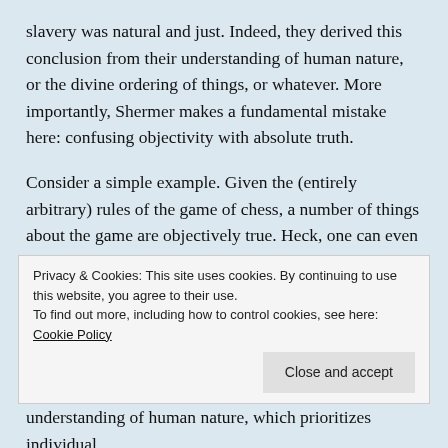slavery was natural and just. Indeed, they derived this conclusion from their understanding of human nature, or the divine ordering of things, or whatever. More importantly, Shermer makes a fundamental mistake here: confusing objectivity with absolute truth.
Consider a simple example. Given the (entirely arbitrary) rules of the game of chess, a number of things about the game are objectively true. Heck, one can even demonstrate mathematical theorems about chess. But these truths are not “universal,” they are contingent on the specific set of rules that constitute the game. They don't exist “out
Privacy & Cookies: This site uses cookies. By continuing to use this website, you agree to their use.
To find out more, including how to control cookies, see here: Cookie Policy
understanding of human nature, which prioritizes individual